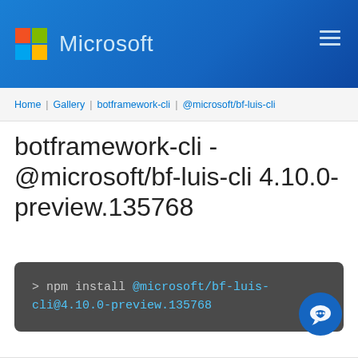Microsoft
Home | Gallery | botframework-cli | @microsoft/bf-luis-cli
botframework-cli - @microsoft/bf-luis-cli 4.10.0-preview.135768
> npm install @microsoft/bf-luis-cli@4.10.0-preview.135768